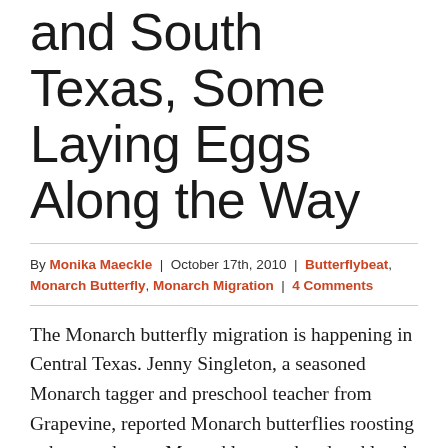and South Texas, Some Laying Eggs Along the Way
By Monika Maeckle | October 17th, 2010 | Butterflybeat, Monarch Butterfly, Monarch Migration | 4 Comments
The Monarch butterfly migration is happening in Central Texas. Jenny Singleton, a seasoned Monarch tagger and preschool teacher from Grapevine, reported Monarch butterflies roosting at her ranch near Menard last weekend and local reports have Monarch butterflies wafting through town, some leaving eggs on milkweed in their wake.